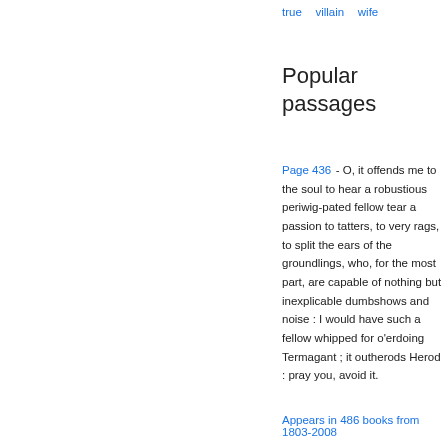true   villain   wife
Popular passages
Page 436 - O, it offends me to the soul to hear a robustious periwig-pated fellow tear a passion to tatters, to very rags, to split the ears of the groundlings, who, for the most part, are capable of nothing but inexplicable dumbshows and noise : I would have such a fellow whipped for o'erdoing Termagant ; it outherods Herod : pray you, avoid it.
Appears in 486 books from 1803-2008